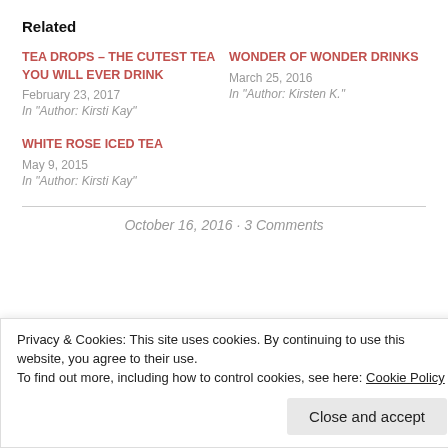Related
TEA DROPS – THE CUTEST TEA YOU WILL EVER DRINK
February 23, 2017
In "Author: Kirsti Kay"
WONDER OF WONDER DRINKS
March 25, 2016
In "Author: Kirsten K."
WHITE ROSE ICED TEA
May 9, 2015
In "Author: Kirsti Kay"
October 16, 2016 · 3 Comments
Privacy & Cookies: This site uses cookies. By continuing to use this website, you agree to their use.
To find out more, including how to control cookies, see here: Cookie Policy
Close and accept